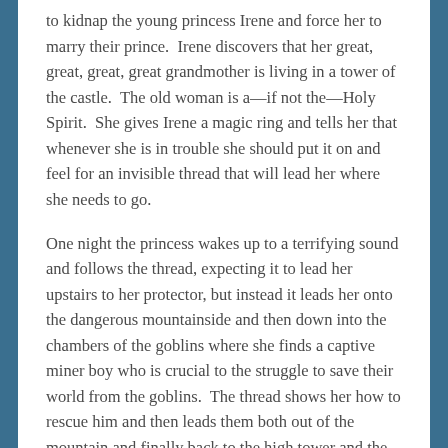to kidnap the young princess Irene and force her to marry their prince. Irene discovers that her great, great, great, great grandmother is living in a tower of the castle. The old woman is a—if not the—Holy Spirit. She gives Irene a magic ring and tells her that whenever she is in trouble she should put it on and feel for an invisible thread that will lead her where she needs to go.
One night the princess wakes up to a terrifying sound and follows the thread, expecting it to lead her upstairs to her protector, but instead it leads her onto the dangerous mountainside and then down into the chambers of the goblins where she finds a captive miner boy who is crucial to the struggle to save their world from the goblins. The thread shows her how to rescue him and then leads them both out of the mountain and finally back to the high tower and the old woman.
The thread leads back into the comfort and safety of our